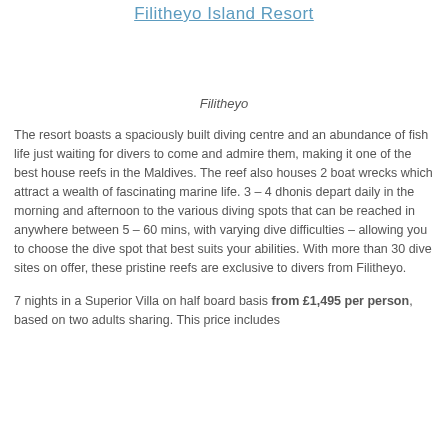Filitheyo Island Resort
Filitheyo
The resort boasts a spaciously built diving centre and an abundance of fish life just waiting for divers to come and admire them, making it one of the best house reefs in the Maldives. The reef also houses 2 boat wrecks which attract a wealth of fascinating marine life. 3 – 4 dhonis depart daily in the morning and afternoon to the various diving spots that can be reached in anywhere between 5 – 60 mins, with varying dive difficulties – allowing you to choose the dive spot that best suits your abilities. With more than 30 dive sites on offer, these pristine reefs are exclusive to divers from Filitheyo.
7 nights in a Superior Villa on half board basis from £1,495 per person, based on two adults sharing. This price includes